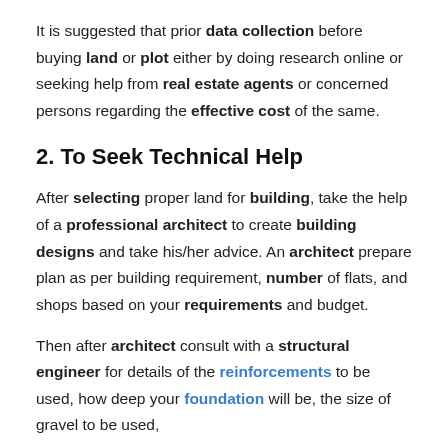It is suggested that prior data collection before buying land or plot either by doing research online or seeking help from real estate agents or concerned persons regarding the effective cost of the same.
2. To Seek Technical Help
After selecting proper land for building, take the help of a professional architect to create building designs and take his/her advice. An architect prepare plan as per building requirement, number of flats, and shops based on your requirements and budget.
Then after architect consult with a structural engineer for details of the reinforcements to be used, how deep your foundation will be, the size of gravel to be used,